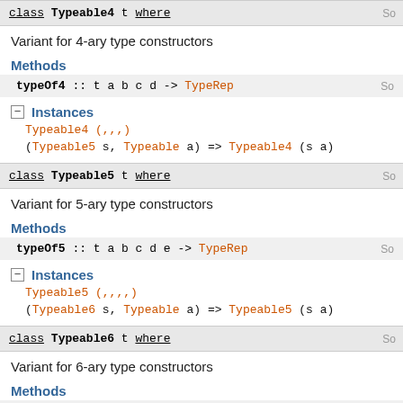class Typeable4 t where
Variant for 4-ary type constructors
Methods
typeOf4 :: t a b c d -> TypeRep
Instances
Typeable4 (,,,)
(Typeable5 s, Typeable a) => Typeable4 (s a)
class Typeable5 t where
Variant for 5-ary type constructors
Methods
typeOf5 :: t a b c d e -> TypeRep
Instances
Typeable5 (,,,,)
(Typeable6 s, Typeable a) => Typeable5 (s a)
class Typeable6 t where
Variant for 6-ary type constructors
Methods
typeOf6 :: t a b c d e f -> TypeRep